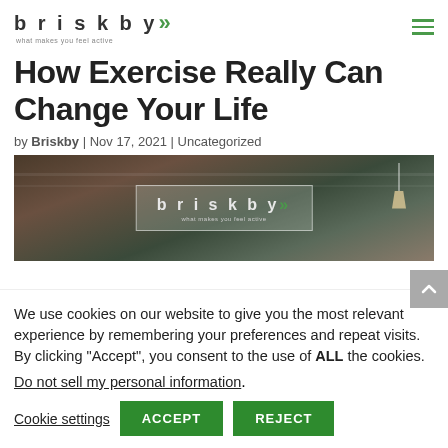briskby >> what makes you feel active
How Exercise Really Can Change Your Life
by Briskby | Nov 17, 2021 | Uncategorized
[Figure (photo): Dark interior gym/warehouse scene with briskby logo overlay on frosted glass panel, pendant lamp visible on right]
We use cookies on our website to give you the most relevant experience by remembering your preferences and repeat visits. By clicking “Accept”, you consent to the use of ALL the cookies.
Do not sell my personal information.
Cookie settings   ACCEPT   REJECT